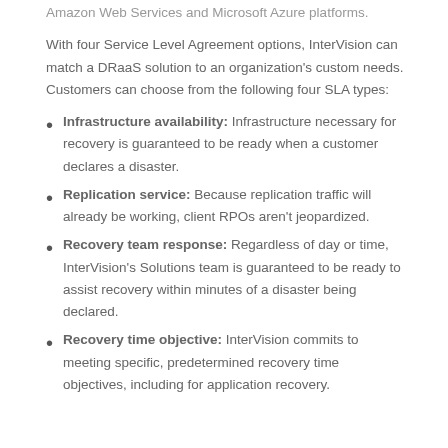Amazon Web Services and Microsoft Azure platforms.
With four Service Level Agreement options, InterVision can match a DRaaS solution to an organization's custom needs. Customers can choose from the following four SLA types:
Infrastructure availability: Infrastructure necessary for recovery is guaranteed to be ready when a customer declares a disaster.
Replication service: Because replication traffic will already be working, client RPOs aren't jeopardized.
Recovery team response: Regardless of day or time, InterVision's Solutions team is guaranteed to be ready to assist recovery within minutes of a disaster being declared.
Recovery time objective: InterVision commits to meeting specific, predetermined recovery time objectives, including for application recovery.